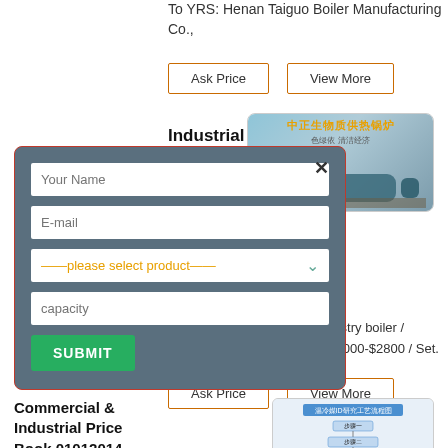To YRS: Henan Taiguo Boiler Manufacturing Co.,
[Figure (screenshot): Form modal dialog with dark blue-grey background containing fields: Your Name, E-mail, please select product dropdown, capacity, and SUBMIT button. X close button in top right.]
Industrial Boiler
[Figure (photo): Chinese boiler product promotional image with Chinese text in orange and grey/blue tones showing industrial boilers]
industry boiler / S $2000-$2800 / Set. 1
Ask Price
View More
Commercial & Industrial Price Book 01012014 –
[Figure (flowchart): Chinese industrial process flow diagram with blue header text and flowchart boxes]